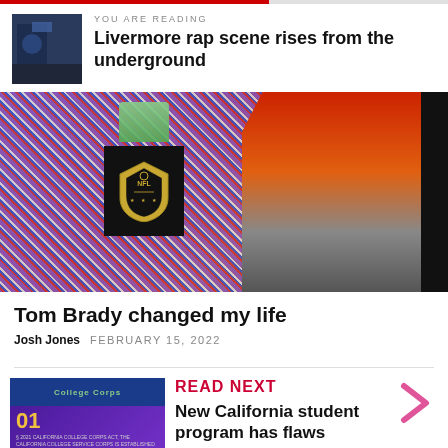YOU ARE READING
Livermore rap scene rises from the underground
[Figure (photo): Photo of a person standing next to an NFL trophy podium with confetti background, wearing a red and orange jacket]
Tom Brady changed my life
Josh Jones   FEBRUARY 15, 2022
[Figure (photo): Thumbnail image showing College Corps program cover with number 01]
READ NEXT
New California student program has flaws